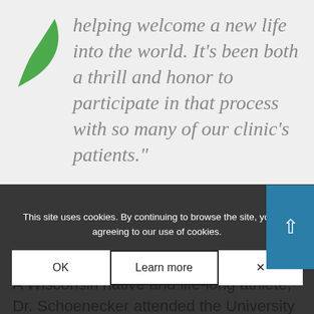[Figure (illustration): Green leaf icon/logo in upper left area]
helping welcome a new life into the world. It’s been both a thrill and honor to participate in that process with so many of our clinic’s patients.”
A Wisconsin native and life-long athlete, Dr. Schoenecker attended the University of Wisconsin-Green Bay on a full athletic scholarship, leading her team to the NCAA Division I Basketball Tournament. Her love of athletics has translated into a passion for exploring the role of exercise in women’s health.
“In both my personal and professional life, I’m a huge believer in wellness and physical activity. I
This site uses cookies. By continuing to browse the site, you are agreeing to our use of cookies.